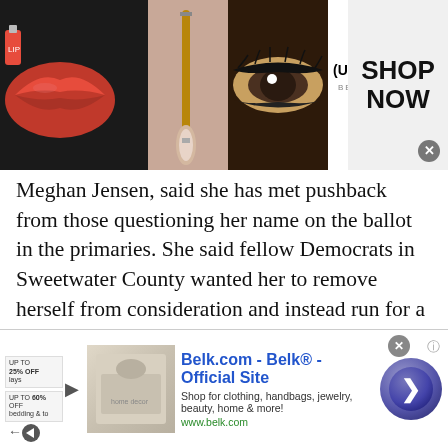[Figure (photo): Top advertisement banner showing makeup images (lips, brush, eyes), Ulta Beauty logo, and 'SHOP NOW' text with close button.]
Meghan Jensen, said she has met pushback from those questioning her name on the ballot in the primaries. She said fellow Democrats in Sweetwater County wanted her to remove herself from consideration and instead run for a local seat, or they believe she should switch her party identification in order to vote for incumbent Rep. Liz Cheney, R-Wyo., during the primary.
Before she ran for Congress, she said local election environments had already shifted in the past few
[Figure (screenshot): Bottom advertisement for Belk.com showing 'Belk® - Official Site', 'Shop for clothing, handbags, jewelry, beauty, home & more!', URL www.belk.com, and a navigation arrow button.]